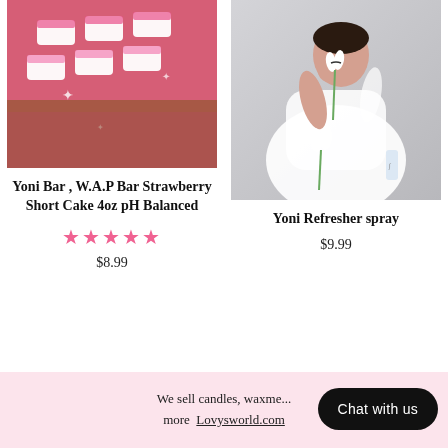[Figure (photo): Photo of pink and white striped soap bars on a pink background wrapped in plastic]
[Figure (photo): Photo of a woman in white robe smelling white tulip flowers]
Yoni Bar , W.A.P Bar Strawberry Short Cake 4oz pH Balanced
★★★★★
$8.99
Yoni Refresher spray
$9.99
We sell candles, waxme... more  Lovysworld.com
Chat with us